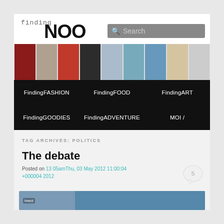[Figure (screenshot): Website header with 'finding NOON' logo in mixed typewriter and bold sans-serif fonts, a gray search bar with placeholder text 'Search', and a photo strip of 9 thumbnail images]
FindingFASHION   FindingFOOD   FindingART   FindingGOODIES   FindingADVENTURE   MOI /
TAG ARCHIVES: POLITICS
The debate
Posted on 13 05amThu, 03 May 2012 11:00:04 +000004 2012
[Figure (photo): Partial thumbnail preview of a photo with text 'hrect' visible, showing a blurry crowd/debate scene in blue tones]